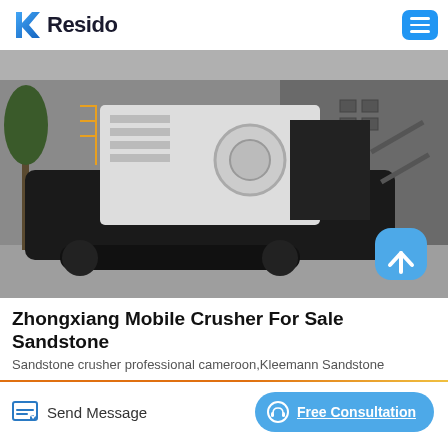Resido
[Figure (photo): A large Zhongxiang mobile crusher machine on tracks, photographed outdoors in front of an industrial building. The machine is primarily black and white, with a tree visible on the left side.]
Zhongxiang Mobile Crusher For Sale Sandstone
Sandstone crusher professional cameroon,Kleemann Sandstone
Send Message
Free Consultation